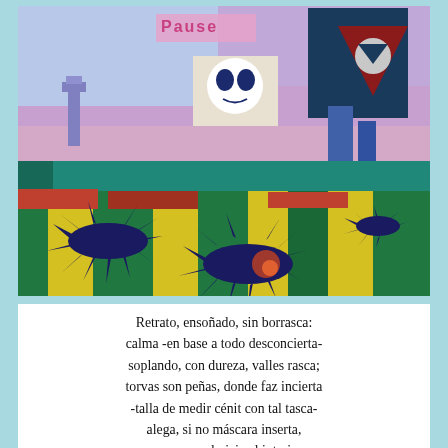[Figure (illustration): A colorful, pop-art style digital illustration showing a surreal landscape with vivid yellow, green, teal, and blue geometric fields and abstract black spiky shapes. In the background, a pink/purple sky with abstract posters including a skull-like face and a dark figure in a triangle. A text sign partially reading 'Pause' is visible. The scene has a retro video-game or psychedelic art aesthetic.]
Retrato, ensoñado, sin borrasca: calma -en base a todo desconcierta- soplando, con dureza, valles rasca; torvas son peñas, donde faz incierta -talla de medir cénit con tal tasca- alega, si no máscara inserta, rocosa, en el viaje al interior por vía del tan dormido llanto frior